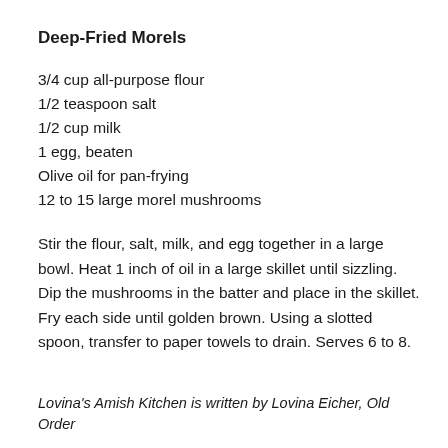Deep-Fried Morels
3/4 cup all-purpose flour
1/2 teaspoon salt
1/2 cup milk
1 egg, beaten
Olive oil for pan-frying
12 to 15 large morel mushrooms
Stir the flour, salt, milk, and egg together in a large bowl. Heat 1 inch of oil in a large skillet until sizzling. Dip the mushrooms in the batter and place in the skillet. Fry each side until golden brown. Using a slotted spoon, transfer to paper towels to drain. Serves 6 to 8.
Lovina's Amish Kitchen is written by Lovina Eicher, Old Order